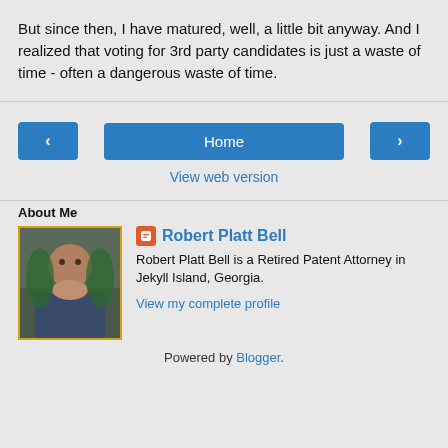But since then, I have matured, well, a little bit anyway.  And I realized that voting for 3rd party candidates is just a waste of time - often a dangerous waste of time.
‹   Home   ›
View web version
About Me
[Figure (photo): Profile photo of Robert Platt Bell]
Robert Platt Bell
Robert Platt Bell is a Retired Patent Attorney in Jekyll Island, Georgia.
View my complete profile
Powered by Blogger.